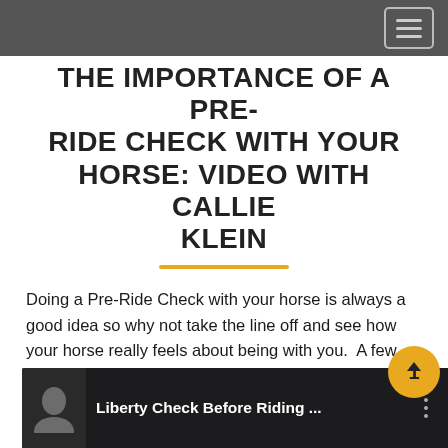THE IMPORTANCE OF A PRE-RIDE CHECK WITH YOUR HORSE: VIDEO WITH CALLIE KLEIN
Doing a Pre-Ride Check with your horse is always a good idea so why not take the line off and see how your horse really feels about being with you.  A few circles engaging the horse's active mind will get you connected for a great ride!
[Figure (screenshot): Video thumbnail showing Liberty Check Before Riding with a horse and rider image, dark background, with a three-dot menu icon on the right.]